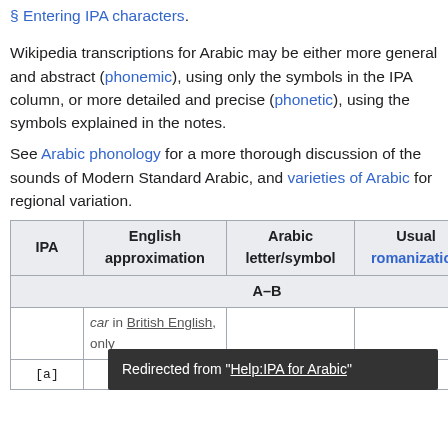((…)), and Wikipedia:Manual of Style/Pronunciation § Entering IPA characters.
Wikipedia transcriptions for Arabic may be either more general and abstract (phonemic), using only the symbols in the IPA column, or more detailed and precise (phonetic), using the symbols explained in the notes.
See Arabic phonology for a more thorough discussion of the sounds of Modern Standard Arabic, and varieties of Arabic for regional variation.
| IPA | English approximation | Arabic letter/symbol | Usual romanization | L... |
| --- | --- | --- | --- | --- |
| A–B |
|  | car in British English, only |  |  |  |
Redirected from "Help:IPA for Arabic"